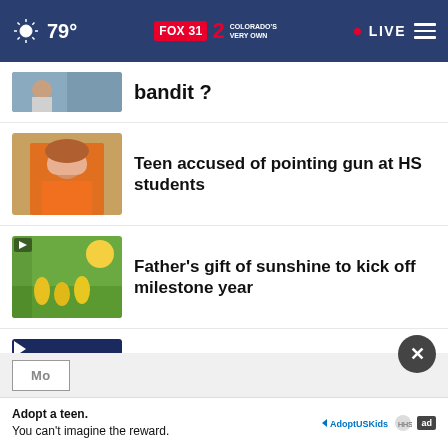79° FOX31 2 COLORADO'S VERY OWN • LIVE
bandit ?
Teen accused of pointing gun at HS students
Father's gift of sunshine to kick off milestone year
Tuition now locked for MSU Denver students
Pedestrian killed by RTD commuter rail in Denver
Mo
Adopt a teen. You can't imagine the reward. AdoptUSKids ad